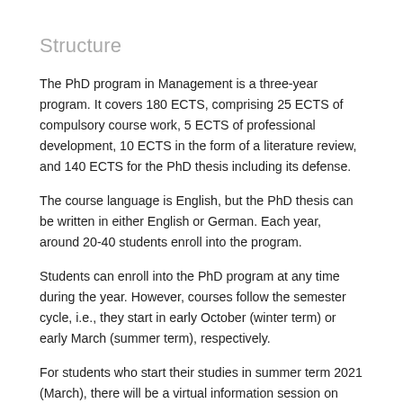Structure
The PhD program in Management is a three-year program. It covers 180 ECTS, comprising 25 ECTS of compulsory course work, 5 ECTS of professional development, 10 ECTS in the form of a literature review, and 140 ECTS for the PhD thesis including its defense.
The course language is English, but the PhD thesis can be written in either English or German. Each year, around 20-40 students enroll into the program.
Students can enroll into the PhD program at any time during the year. However, courses follow the semester cycle, i.e., they start in early October (winter term) or early March (summer term), respectively.
For students who start their studies in summer term 2021 (March), there will be a virtual information session on